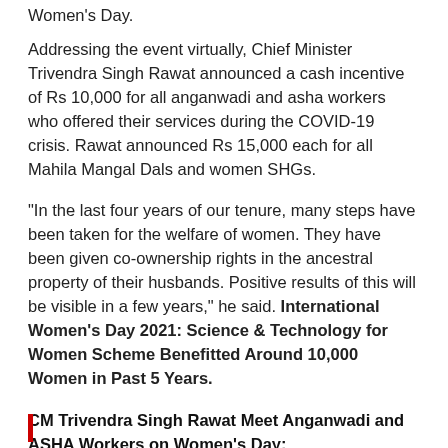Women's Day.
Addressing the event virtually, Chief Minister Trivendra Singh Rawat announced a cash incentive of Rs 10,000 for all anganwadi and asha workers who offered their services during the COVID-19 crisis. Rawat announced Rs 15,000 each for all Mahila Mangal Dals and women SHGs.
“In the last four years of our tenure, many steps have been taken for the welfare of women. They have been given co-ownership rights in the ancestral property of their husbands. Positive results of this will be visible in a few years,” he said. International Women’s Day 2021: Science & Technology for Women Scheme Benefitted Around 10,000 Women in Past 5 Years.
CM Trivendra Singh Rawat Meet Anganwadi and ASHA Workers on Women’s Day: